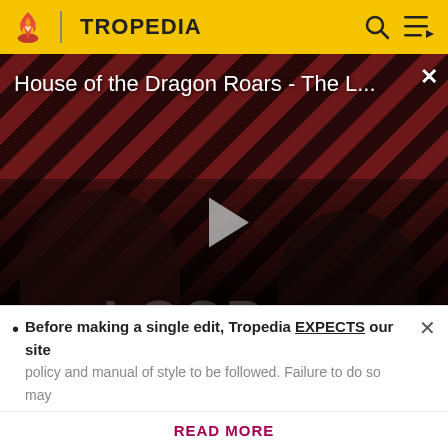TROPEDIA
[Figure (screenshot): Video thumbnail for 'House of the Dragon Roars - The L...' showing two silhouetted figures against a diagonal red and dark stripe pattern background, with THE LOOP text, a play button, NaN:NaN timer, and a close X button.]
make Jeremy feel better by saying that when he and Connie were dating he once ordered "jackets
Before making a single edit, Tropedia EXPECTS our site policy and manual of style to be followed. Failure to do so may
READ MORE